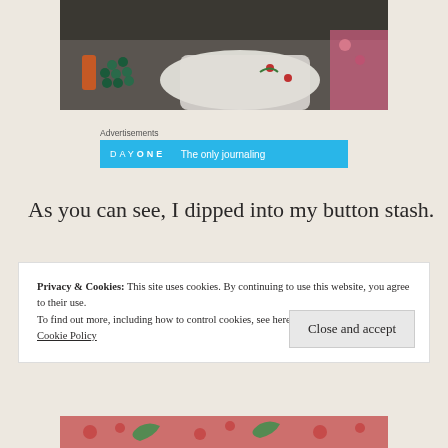[Figure (photo): Photo of craft/sewing materials including buttons and fabric on a table, partially visible at top of page]
Advertisements
[Figure (screenshot): Advertisement banner for DAY ONE app in blue with text 'The only journaling']
As you can see, I dipped into my button stash.
Privacy & Cookies: This site uses cookies. By continuing to use this website, you agree to their use.
To find out more, including how to control cookies, see here:
Cookie Policy
Close and accept
[Figure (photo): Partial photo at bottom showing colorful fabric with red and green floral embroidery]